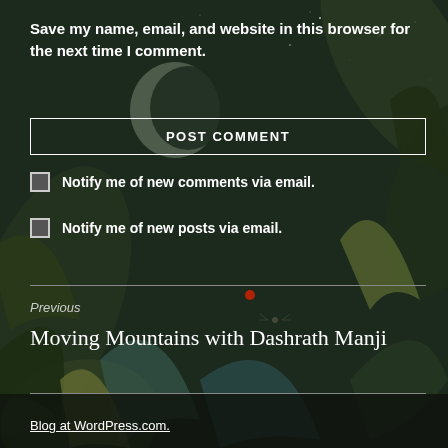Save my name, email, and website in this browser for the next time I comment.
POST COMMENT
Notify me of new comments via email.
Notify me of new posts via email.
Previous
Moving Mountains with Dashrath Manji
Blog at WordPress.com.